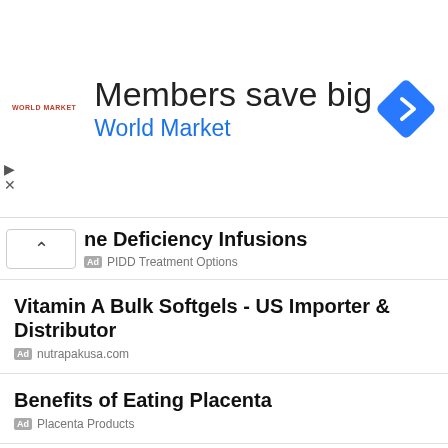[Figure (screenshot): World Market banner ad with logo, text 'Members save big / World Market', and navigation icon]
ne Deficiency Infusions
Ad  PIDD Treatment Options
Vitamin A Bulk Softgels - US Importer & Distributor
Ad  nutrapakusa.com
Benefits of Eating Placenta
Ad  Placenta Products
Ashwagandha, Elderberry, ACV
Ad  Essential Vitals LLC
Advanced Fertility Treatments